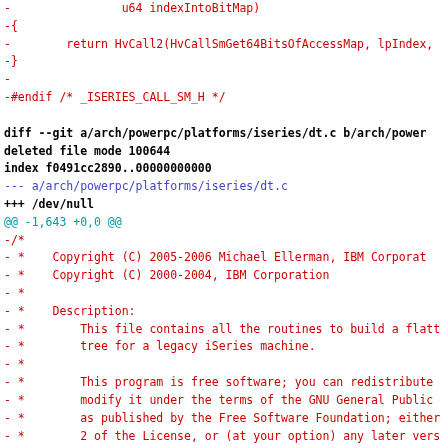diff --git code patch showing deleted file arch/powerpc/platforms/iseries/dt.c with copyright and license header lines
[Figure (screenshot): Source code diff output showing removal of iseries/call_sm.h and iseries/dt.c files with red deleted lines and bold black diff headers]